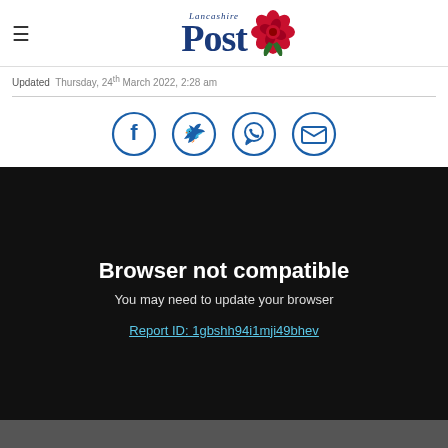Lancashire Post
Updated  Thursday, 24th March 2022, 2:28 am
[Figure (infographic): Social sharing icons: Facebook, Twitter, WhatsApp, Email]
Browser not compatible
You may need to update your browser
Report ID: 1gbshh94i1mji49bhev